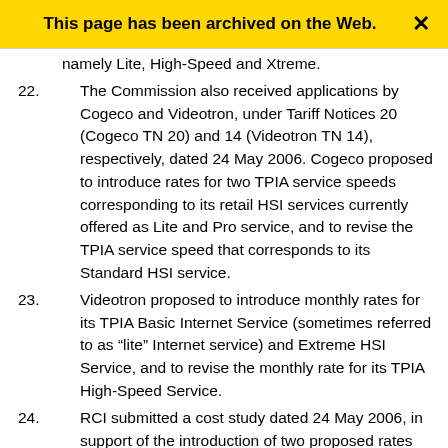This page has been archived on the Web.
Shaw TN 6), to revise rates for its three HSI services, namely Lite, High-Speed and Xtreme.
22. The Commission also received applications by Cogeco and Videotron, under Tariff Notices 20 (Cogeco TN 20) and 14 (Videotron TN 14), respectively, dated 24 May 2006. Cogeco proposed to introduce rates for two TPIA service speeds corresponding to its retail HSI services currently offered as Lite and Pro service, and to revise the TPIA service speed that corresponds to its Standard HSI service.
23. Videotron proposed to introduce monthly rates for its TPIA Basic Internet Service (sometimes referred to as "lite" Internet service) and Extreme HSI Service, and to revise the monthly rate for its TPIA High-Speed Service.
24. RCI submitted a cost study dated 24 May 2006, in support of the introduction of two proposed rates for